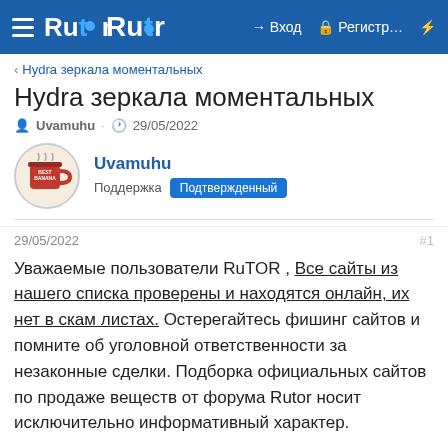Rutor — Вход — Регистр…
< Hydra зеркала моментальных
Hydra зеркала моментальных
Uvamuhu · 29/05/2022
Uvamuhu
Поддержка Подтвержденный
29/05/2022  #1
Уважаемые пользователи RuTOR , Все сайты из нашего списка проверены и находятся онлайн, их нет в скам листах. Остерегайтесь фишинг сайтов и помните об уголовной ответственности за незаконные сделки. Подборка официальных сайтов по продаже веществ от форума Rutor носит исключительно информативный характер.